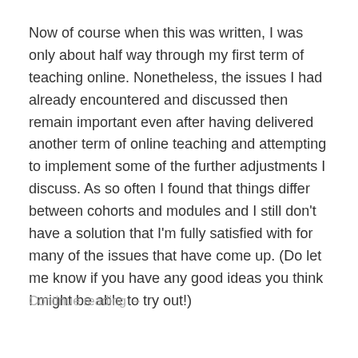Now of course when this was written, I was only about half way through my first term of teaching online. Nonetheless, the issues I had already encountered and discussed then remain important even after having delivered another term of online teaching and attempting to implement some of the further adjustments I discuss. As so often I found that things differ between cohorts and modules and I still don't have a solution that I'm fully satisfied with for many of the issues that have come up. (Do let me know if you have any good ideas you think I might be able to try out!)
Continue reading →